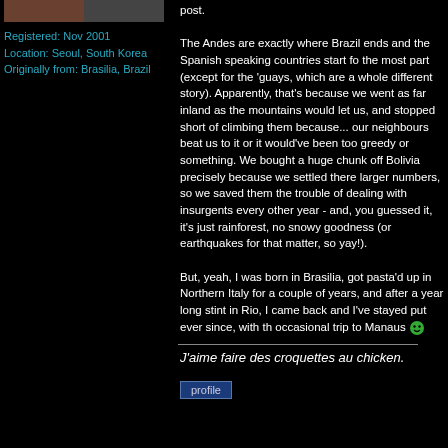[Figure (photo): User avatar/profile photo thumbnail, partially visible at top]
Registered: Nov 2001
Location: Seoul, South Korea
Originally from: Brasilia, Brazil
post.

The Andes are exactly where Brazil ends and the Spanish speaking countries start for the most part (except for the 'guays, which are a whole different story). Apparently, that's because we went as far inland as the mountains would let us, and stopped short of climbing them because... our neighbours beat us to it or it would've been too greedy or something. We bought a huge chunk off Bolivia precisely because we settled there larger numbers, so we saved them the trouble of dealing with insurgents every other year - and, you guessed it, it's just rainforest, no snowy goodness (or earthquakes for that matter, so yay!).

But, yeah, I was born in Brasilia, got pasta'd up in Northern Italy for a couple of years, and after a year long stint in Rio, I came back and I've stayed put ever since, with the occasional trip to Manaus
J'aime faire des croquettes au chicken.
[Figure (screenshot): Profile button - a small button labeled 'profile']